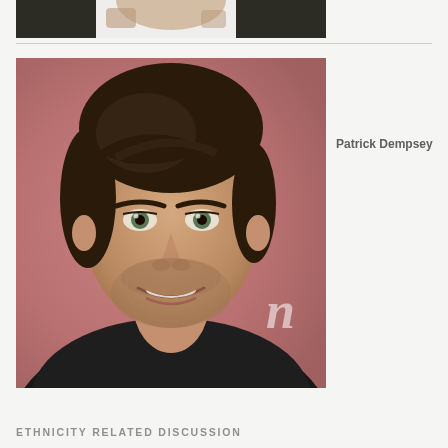[Figure (photo): Cropped top portion of a person's upper body/neck area, partially visible at the top of the page]
[Figure (photo): Portrait photo of Patrick Dempsey, a man with dark hair smiling slightly, in front of a pinkish-red background, wearing a dark jacket]
Patrick Dempsey
ETHNICITY RELATED DISCUSSION